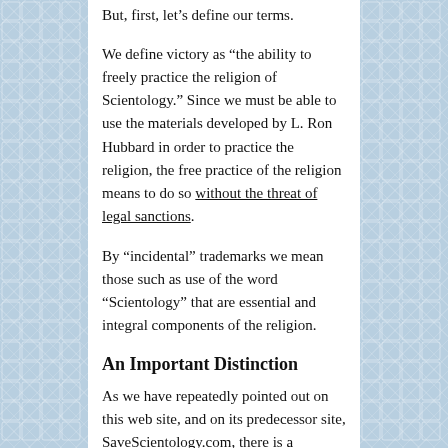But, first, let’s define our terms.
We define victory as “the ability to freely practice the religion of Scientology.” Since we must be able to use the materials developed by L. Ron Hubbard in order to practice the religion, the free practice of the religion means to do so without the threat of legal sanctions.
By “incidental” trademarks we mean those such as use of the word “Scientology” that are essential and integral components of the religion.
An Important Distinction
As we have repeatedly pointed out on this web site, and on its predecessor site, SaveScientology.com, there is a profound